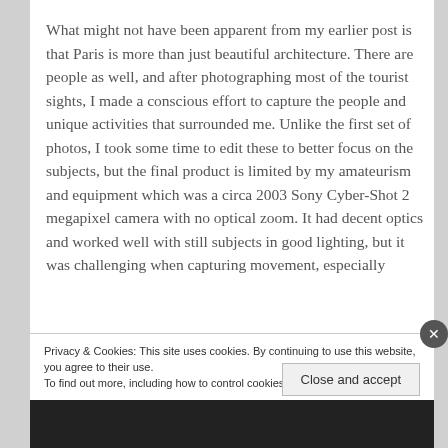What might not have been apparent from my earlier post is that Paris is more than just beautiful architecture. There are people as well, and after photographing most of the tourist sights, I made a conscious effort to capture the people and unique activities that surrounded me. Unlike the first set of photos, I took some time to edit these to better focus on the subjects, but the final product is limited by my amateurism and equipment which was a circa 2003 Sony Cyber-Shot 2 megapixel camera with no optical zoom. It had decent optics and worked well with still subjects in good lighting, but it was challenging when capturing movement, especially
Privacy & Cookies: This site uses cookies. By continuing to use this website, you agree to their use.
To find out more, including how to control cookies, see here: Cookie Policy
Close and accept